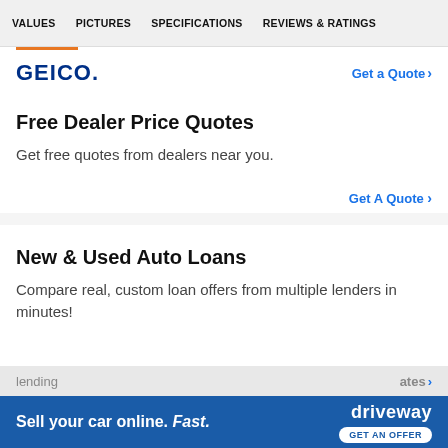VALUES   PICTURES   SPECIFICATIONS   REVIEWS & RATINGS
[Figure (logo): GEICO logo in blue bold text]
Get a Quote >
Free Dealer Price Quotes
Get free quotes from dealers near you.
Get A Quote >
New & Used Auto Loans
Compare real, custom loan offers from multiple lenders in minutes!
[Figure (infographic): Blue advertisement banner: 'Sell your car online. Fast.' with Driveway logo and GET AN OFFER button]